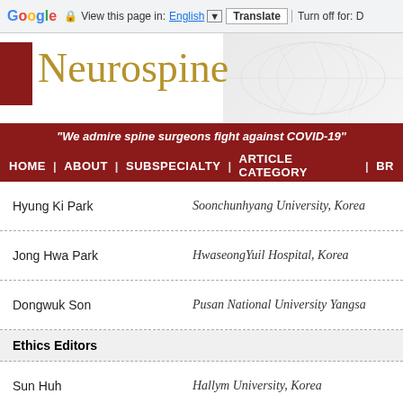[Figure (screenshot): Google Translate browser bar with Google logo, lock icon, 'View this page in: English [dropdown] Translate | Turn off for: D']
[Figure (logo): Neurospine journal header with red square logo, gold serif Neurospine title, world map background]
"We admire spine surgeons fight against COVID-19"
HOME | ABOUT | SUBSPECIALTY | ARTICLE CATEGORY | BR
| Name | Affiliation |
| --- | --- |
| Hyung Ki Park | Soonchunhyang University, Korea |
| Jong Hwa Park | HwaseongYuil Hospital, Korea |
| Dongwuk Son | Pusan National University Yangsa |
| Ethics Editors |  |
| Sun Huh | Hallym University, Korea |
| Young Yoo | Korea University, Korea |
| Manuscript Editor |  |
| Hwan Tae Ahn | Infolumi, Korea |